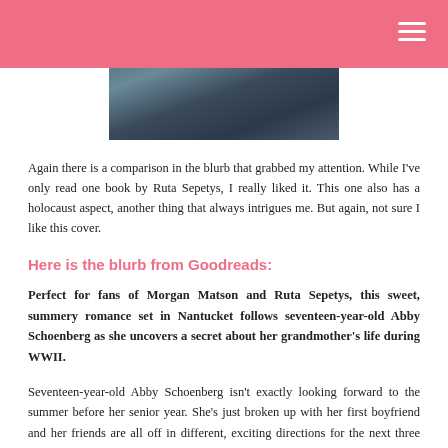[Figure (photo): Book cover photo showing a coastal/ocean scene, partially visible at the top of the page]
Again there is a comparison in the blurb that grabbed my attention. While I've only read one book by Ruta Sepetys, I really liked it. This one also has a holocaust aspect, another thing that always intrigues me. But again, not sure I like this cover.
Here is the blurb from Goodreads:
Perfect for fans of Morgan Matson and Ruta Sepetys, this sweet, summery romance set in Nantucket follows seventeen-year-old Abby Schoenberg as she uncovers a secret about her grandmother's life during WWII.
Seventeen-year-old Abby Schoenberg isn't exactly looking forward to the summer before her senior year. She's just broken up with her first boyfriend and her friends are all off in different, exciting directions for the next three months. Abby needs a plan– an adventure of her own. Enter: the letters.